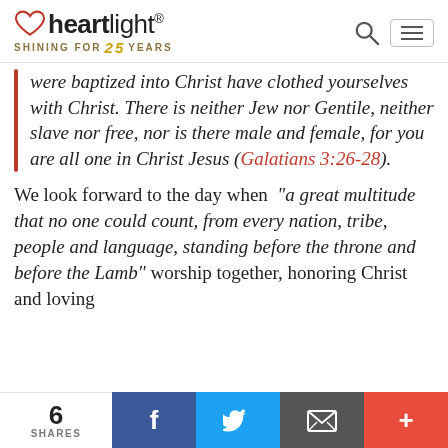heartlight® SHINING FOR 25 YEARS
were baptized into Christ have clothed yourselves with Christ. There is neither Jew nor Gentile, neither slave nor free, nor is there male and female, for you are all one in Christ Jesus (Galatians 3:26-28).
We look forward to the day when "a great multitude that no one could count, from every nation, tribe, people and language, standing before the throne and before the Lamb" worship together, honoring Christ and loving
6 SHARES